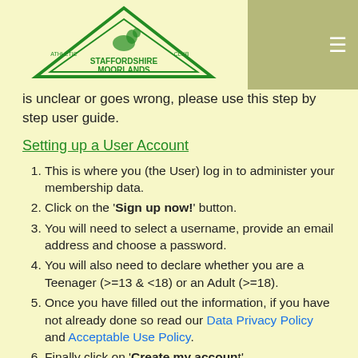Staffordshire Moorlands Athletic Club — navigation header
is unclear or goes wrong, please use this step by step user guide.
Setting up a User Account
This is where you (the User) log in to administer your membership data.
Click on the 'Sign up now!' button.
You will need to select a username, provide an email address and choose a password.
You will also need to declare whether you are a Teenager (>=13 & <18) or an Adult (>=18).
Once you have filled out the information, if you have not already done so read our Data Privacy Policy and Acceptable Use Policy.
Finally click on 'Create my account'.
You will receive an automatic email with your